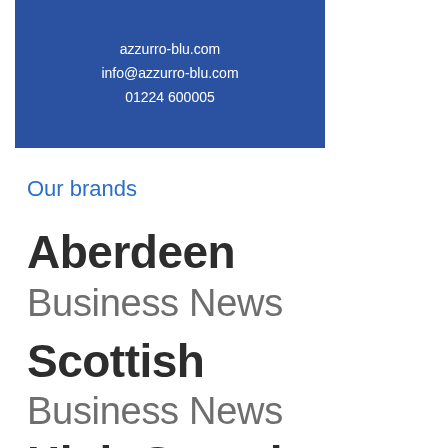[Figure (other): Blue rectangle containing contact info: azzurro-blu.com, info@azzurro-blu.com, 01224 600005]
Our brands
Aberdeen Business News
Scottish Business News
High Growth